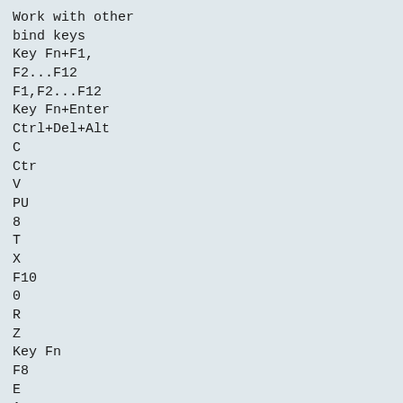Work with other
bind keys
Key Fn+F1,
F2...F12
F1,F2...F12
Key Fn+Enter
Ctrl+Del+Alt
C
Ctr
V
PU
8
T
X
F10
0
R
Z
Key Fn
F8
E
A
Item
F7
W
SF
Fn
5
F6
*

O
Cap